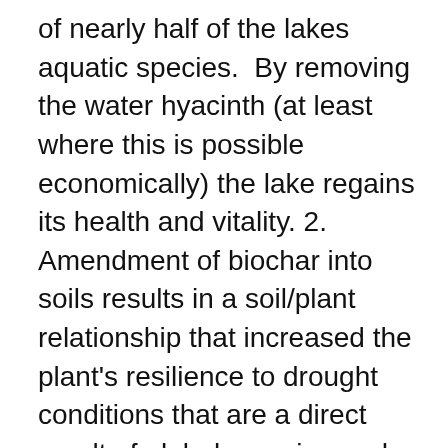of nearly half of the lakes aquatic species.  By removing the water hyacinth (at least where this is possible economically) the lake regains its health and vitality. 2. Amendment of biochar into soils results in a soil/plant relationship that increased the plant's resilience to drought conditions that are a direct result of global warming and climate change. 3. Increasing the use of organic fertilizers reduces the need to purchase chemical fertilizers, further offsetting the emission of CO2 to the atmosphere and further mitigating the